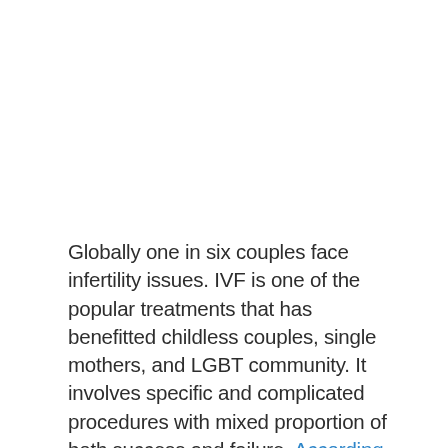Globally one in six couples face infertility issues. IVF is one of the popular treatments that has benefitted childless couples, single mothers, and LGBT community. It involves specific and complicated procedures with mixed proportion of both success and failure. According to CDC, 1.5 million to 2 million cycles of IVF is performed worldwide every year, and about 55 percent of the reported cycles are carried out in Europe. The Global